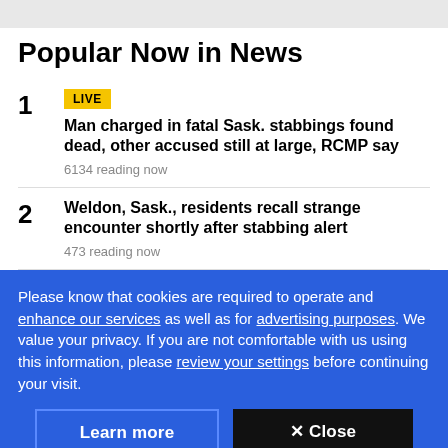Popular Now in News
1 LIVE
Man charged in fatal Sask. stabbings found dead, other accused still at large, RCMP say
6134 reading now
2 Weldon, Sask., residents recall strange encounter shortly after stabbing alert
473 reading now
Please know that cookies are required to operate and enhance our services as well as for advertising purposes. We value your privacy. If you are not comfortable with us using this information, please review your settings before continuing your visit.
Learn more  ✕ Close